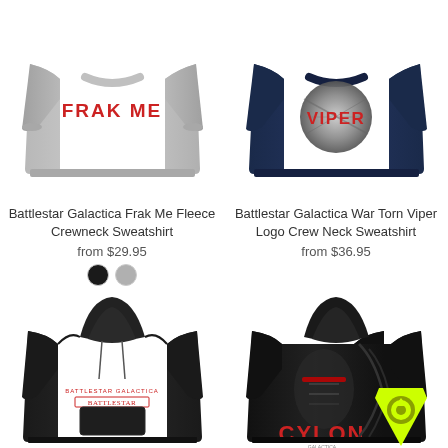[Figure (photo): Gray crewneck sweatshirt with FRAK ME text in red letters on chest]
Battlestar Galactica Frak Me Fleece Crewneck Sweatshirt
from $29.95
[Figure (photo): Navy blue crewneck sweatshirt with circular war-torn Viper logo]
Battlestar Galactica War Torn Viper Logo Crew Neck Sweatshirt
from $36.95
[Figure (photo): Black hoodie sweatshirt with red Battlestar Galactica text graphic]
[Figure (photo): Black hoodie with Cylon graphic in red letters and a yellow badge overlay in bottom right corner]